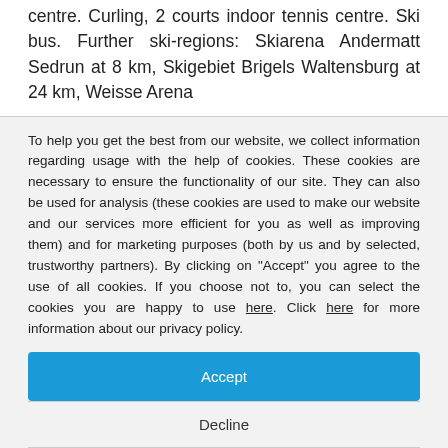centre. Curling, 2 courts indoor tennis centre. Ski bus. Further ski-regions: Skiarena Andermatt Sedrun at 8 km, Skigebiet Brigels Waltensburg at 24 km, Weisse Arena
To help you get the best from our website, we collect information regarding usage with the help of cookies. These cookies are necessary to ensure the functionality of our site. They can also be used for analysis (these cookies are used to make our website and our services more efficient for you as well as improving them) and for marketing purposes (both by us and by selected, trustworthy partners). By clicking on "Accept" you agree to the use of all cookies. If you choose not to, you can select the cookies you are happy to use here. Click here for more information about our privacy policy.
Accept
Decline
Configure